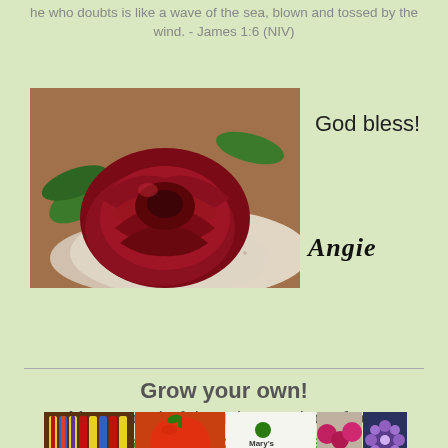he who doubts is like a wave of the sea, blown and tossed by the wind. - James 1:6 (NIV)
[Figure (photo): A dark red/burgundy rose lying on a white lace doily, with green leaves visible in the background.]
God bless!
Angie
Grow your own!
Many wonderful garden products from "Mary's Heirloom Seeds"!!
[Figure (photo): A collage of four garden photos: colorful Indian corn, a red tomato, Mary's Heirloom Seeds logo, radishes, and a purple flower.]